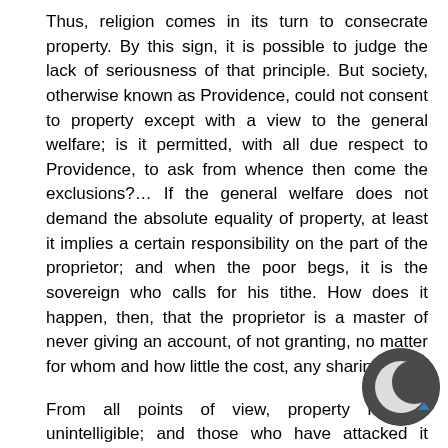Thus, religion comes in its turn to consecrate property. By this sign, it is possible to judge the lack of seriousness of that principle. But society, otherwise known as Providence, could not consent to property except with a view to the general welfare; is it permitted, with all due respect to Providence, to ask from whence then come the exclusions?… If the general welfare does not demand the absolute equality of property, at least it implies a certain responsibility on the part of the proprietor; and when the poor begs, it is the sovereign who calls for his tithe. How does it happen, then, that the proprietor is a master of never giving an account, of not granting, no matter for whom and how little the cost, any sharing?
From all points of view, property remains unintelligible; and those who have attacked it could be certain in advance that they would not be answered, as they could also count on the fact that their criticisms would not have the least effect. Property indeed exists, but reason condemns it: how are we to reconcile here the reality and the idea? How are we to make reason become fact? This is what remains for us to do, something that nobody seems to have